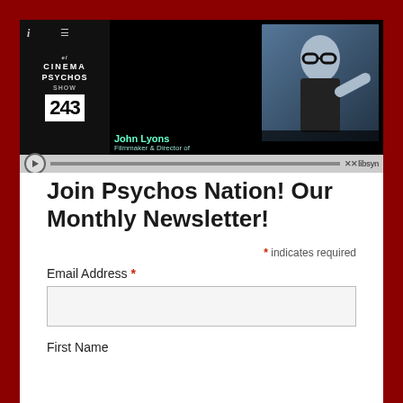[Figure (screenshot): Cinema Psychos podcast episode 243 player widget featuring John Lyons, Filmmaker & Director of. Shows episode thumbnail with show logo and guest photo, with audio player controls and Libsyn branding.]
Join Psychos Nation! Our Monthly Newsletter!
* indicates required
Email Address *
First Name